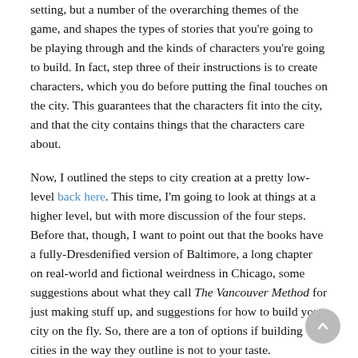setting, but a number of the overarching themes of the game, and shapes the types of stories that you're going to be playing through and the kinds of characters you're going to build. In fact, step three of their instructions is to create characters, which you do before putting the final touches on the city. This guarantees that the characters fit into the city, and that the city contains things that the characters care about.
Now, I outlined the steps to city creation at a pretty low-level back here. This time, I'm going to look at things at a higher level, but with more discussion of the four steps. Before that, though, I want to point out that the books have a fully-Dresdenified version of Baltimore, a long chapter on real-world and fictional weirdness in Chicago, some suggestions about what they call The Vancouver Method for just making stuff up, and suggestions for how to build your city on the fly. So, there are a ton of options if building cities in the way they outline is not to your taste.
The four high-level steps are:
Choose a city, themes, and threats.
Fill in locations and faces.
Make the player characters.
Turn themes and threats into Aspects.